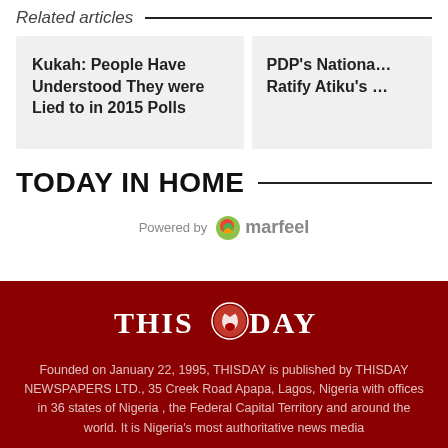Related articles
Kukah: People Have Understood They were Lied to in 2015 Polls
PDP's Nationa… Ratify Atiku's …
TODAY IN HOME
Powered by marfeel
[Figure (logo): ThisDay newspaper logo — circular eagle emblem between THIS and DAY in serif font]
Founded on January 22, 1995, THISDAY is published by THISDAY NEWSPAPERS LTD., 35 Creek Road Apapa, Lagos, Nigeria with offices in 36 states of Nigeria , the Federal Capital Territory and around the world. It is Nigeria's most authoritative news media